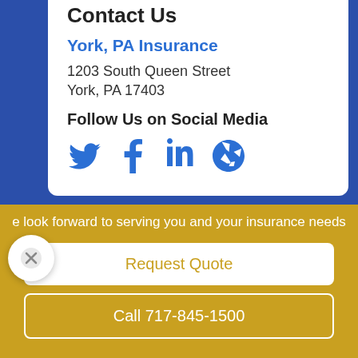Contact Us
York, PA Insurance
1203 South Queen Street
York, PA 17403
Follow Us on Social Media
[Figure (illustration): Social media icons: Twitter bird, Facebook f, LinkedIn in, Yelp asterisk — all in blue]
[Figure (illustration): Partially visible white card with a blue checkmark icon and text 'Errors and Omissions', and a circular close (X) button overlay]
e look forward to serving you and your insurance needs
Request Quote
Call 717-845-1500